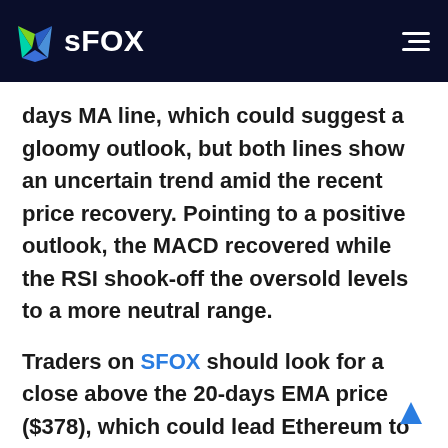sFOX
days MA line, which could suggest a gloomy outlook, but both lines show an uncertain trend amid the recent price recovery. Pointing to a positive outlook, the MACD recovered while the RSI shook-off the oversold levels to a more neutral range.
Traders on SFOX should look for a close above the 20-days EMA price ($378), which could lead Ethereum to retest the